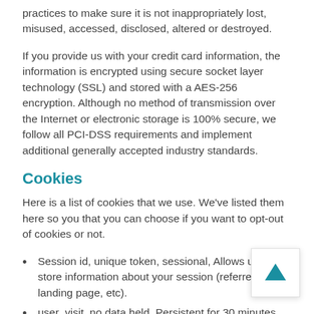practices to make sure it is not inappropriately lost, misused, accessed, disclosed, altered or destroyed.
If you provide us with your credit card information, the information is encrypted using secure socket layer technology (SSL) and stored with a AES-256 encryption. Although no method of transmission over the Internet or electronic storage is 100% secure, we follow all PCI-DSS requirements and implement additional generally accepted industry standards.
Cookies
Here is a list of cookies that we use. We've listed them here so you that you can choose if you want to opt-out of cookies or not.
Session id, unique token, sessional, Allows us to store information about your session (referrer, landing page, etc).
user_visit, no data held, Persistent for 30 minutes